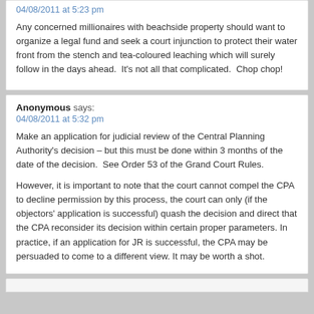04/08/2011 at 5:23 pm
Any concerned millionaires with beachside property should want to organize a legal fund and seek a court injunction to protect their water front from the stench and tea-coloured leaching which will surely follow in the days ahead.  It's not all that complicated.  Chop chop!
Anonymous says:
04/08/2011 at 5:32 pm
Make an application for judicial review of the Central Planning Authority's decision – but this must be done within 3 months of the date of the decision.  See Order 53 of the Grand Court Rules.
However, it is important to note that the court cannot compel the CPA to decline permission by this process, the court can only (if the objectors' application is successful) quash the decision and direct that the CPA reconsider its decision within certain proper parameters. In practice, if an application for JR is successful, the CPA may be persuaded to come to a different view. It may be worth a shot.